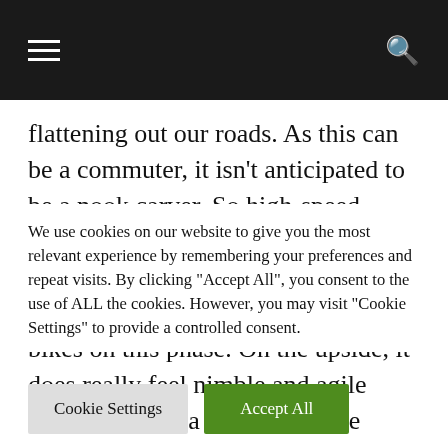Navigation bar with hamburger menu and search icon
flattening out our roads. As this can be a commuter, it isn't anticipated to be a nook carver. So high-speed dealing with is kind of numb and unnerving on its skinny tyres. This behaviour is on par with different bikes on this phase. On the upside, it does really feel nimble and agile when flitting via metropolis site visitors, and the commuter-typical clutch feels as gentle because the bike does.
We use cookies on our website to give you the most relevant experience by remembering your preferences and repeat visits. By clicking "Accept All", you consent to the use of ALL the cookies. However, you may visit "Cookie Settings" to provide a controlled consent.
Cookie Settings
Accept All